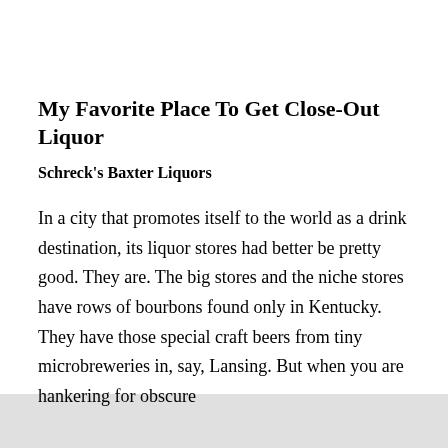My Favorite Place To Get Close-Out Liquor
Schreck's Baxter Liquors
In a city that promotes itself to the world as a drink destination, its liquor stores had better be pretty good. They are. The big stores and the niche stores have rows of bourbons found only in Kentucky. They have those special craft beers from tiny microbreweries in, say, Lansing. But when you are hankering for obscure finds like fine imports and the big stores can't compare,